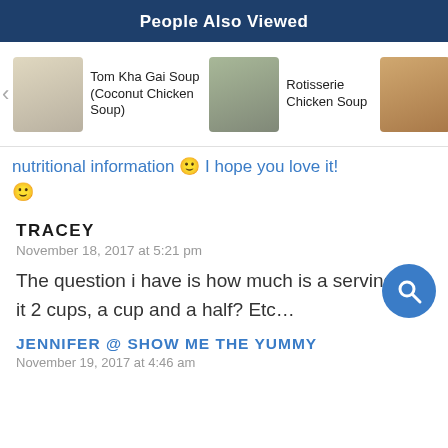People Also Viewed
[Figure (screenshot): Carousel showing three food items: Tom Kha Gai Soup (Coconut Chicken Soup), Rotisserie Chicken Soup, and Cra[cker] Noo[dle] (partially visible), with left/right navigation arrows and thumbnail images.]
nutritional information 🙂 I hope you love it! 🙂
TRACEY
November 18, 2017 at 5:21 pm
The question i have is how much is a serving…is it 2 cups, a cup and a half? Etc…
JENNIFER @ SHOW ME THE YUMMY
November 19, 2017 at 4:46 am